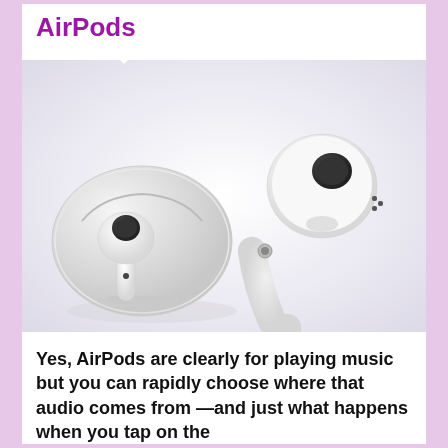AirPods
[Figure (photo): Apple AirPods wireless earbuds partially out of white charging case on light lavender background]
Yes, AirPods are clearly for playing music but you can rapidly choose where that audio comes from —and just what happens when you tap on the